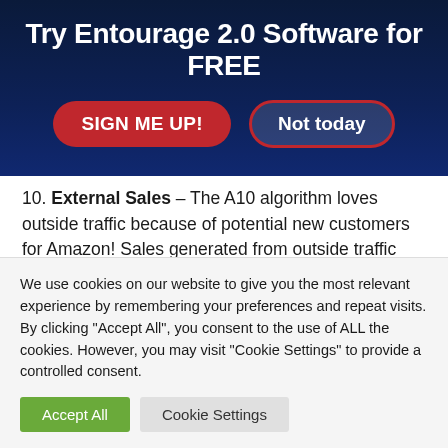Try Entourage 2.0 Software for FREE
[Figure (other): Two buttons: 'SIGN ME UP!' (red pill button) and 'Not today' (outlined pill button with red border, white background)]
10. External Sales – The A10 algorithm loves outside traffic because of potential new customers for Amazon! Sales generated from outside traffic weigh more than sales gained from Amazon PPC.
Amazon Backend Search Terms Guidelines
We use cookies on our website to give you the most relevant experience by remembering your preferences and repeat visits. By clicking "Accept All", you consent to the use of ALL the cookies. However, you may visit "Cookie Settings" to provide a controlled consent.